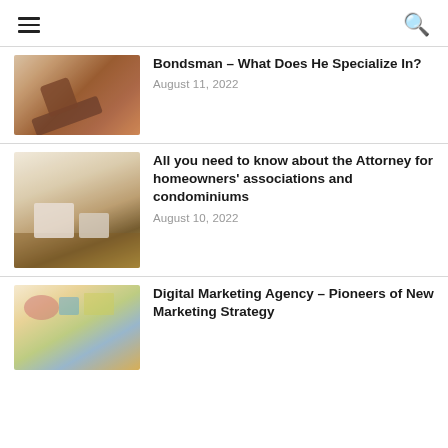☰ [menu] [search]
[Figure (photo): Gavel on a wooden surface in a courtroom setting]
Bondsman – What Does He Specialize In?
August 11, 2022
[Figure (photo): People at a meeting table with a miniature house model, reviewing documents]
All you need to know about the Attorney for homeowners' associations and condominiums
August 10, 2022
[Figure (photo): Overhead view of people working on marketing strategy documents with color charts]
Digital Marketing Agency – Pioneers of New Marketing Strategy